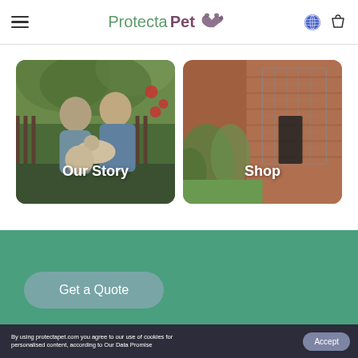ProtectaPet
[Figure (photo): Two people holding cats in a garden — Our Story section]
[Figure (photo): Garden enclosure/catio structure near a brick building — Shop section]
Get a Quote
By using protectapet.com you agree to our use of cookies for personalised content, according to Our Data Promise
Accept